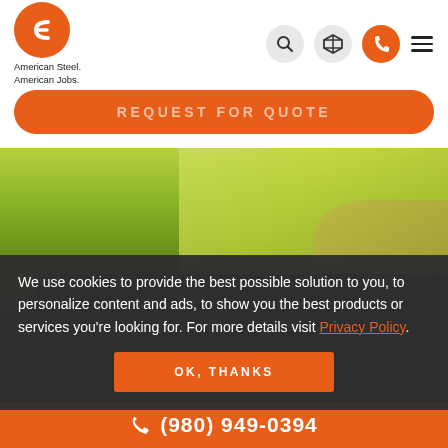[Figure (logo): CE logo orange circle with C-bracket mark, American Steel. American Jobs. tagline]
[Figure (screenshot): Navigation icons: search magnifier, 3D box icon, orange phone circle, hamburger menu]
REQUEST FOR QUOTE
[Figure (photo): Aerial photo of green field with solar panel array on metal building roof]
We use cookies to provide the best possible solution to you, to personalize content and ads, to show you the best products or services you're looking for. For more details visit Privacy Policy.
OK, THANKS
(980) 949-0394